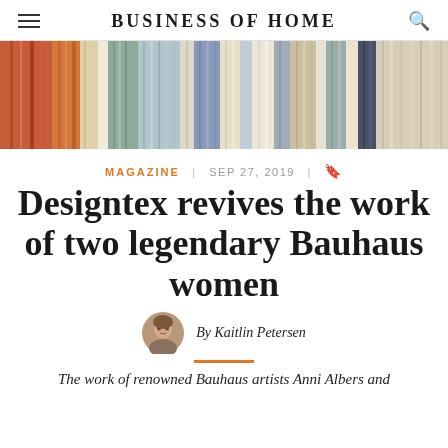BUSINESS OF HOME
[Figure (photo): Colorful abstract textile artwork showing vertical stripes in orange, red, blue, grey, and beige tones — Bauhaus-inspired woven fabric design.]
MAGAZINE | SEP 27, 2019 | 🔖
Designtex revives the work of two legendary Bauhaus women
By Kaitlin Petersen
The work of renowned Bauhaus artists Anni Albers and